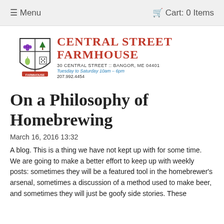≡ Menu    🛒 Cart: 0 Items
[Figure (logo): Central Street Farmhouse logo with shield/crest and text: CENTRAL STREET FARMHOUSE, 30 CENTRAL STREET :: BANGOR, ME 04401, Tuesday to Saturday 10am - 6pm, 207.992.4454]
On a Philosophy of Homebrewing
March 16, 2016 13:32
A blog. This is a thing we have not kept up with for some time. We are going to make a better effort to keep up with weekly posts: sometimes they will be a featured tool in the homebrewer's arsenal, sometimes a discussion of a method used to make beer, and sometimes they will just be goofy side stories. These